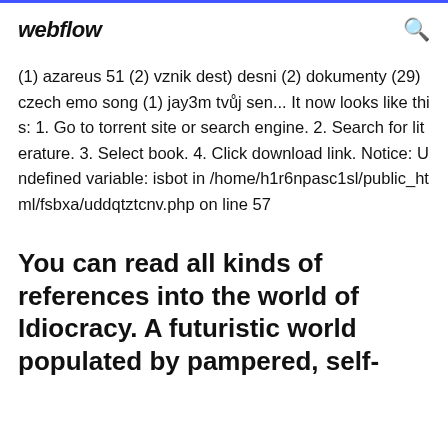webflow
(1) azareus 51 (2) vznik dest) desni (2) dokumenty (29) czech emo song (1) jay3m tvůj sen... It now looks like this: 1. Go to torrent site or search engine. 2. Search for literature. 3. Select book. 4. Click download link. Notice: Undefined variable: isbot in /home/h1r6npasc1sl/public_html/fsbxa/uddqtztcnv.php on line 57
You can read all kinds of references into the world of Idiocracy. A futuristic world populated by pampered, self-